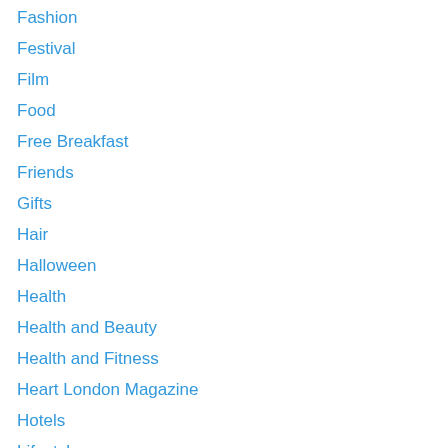Fashion
Festival
Film
Food
Free Breakfast
Friends
Gifts
Hair
Halloween
Health
Health and Beauty
Health and Fitness
Heart London Magazine
Hotels
Lifestyle
London
London Bars
London Eateries
London Events
Los Angeles